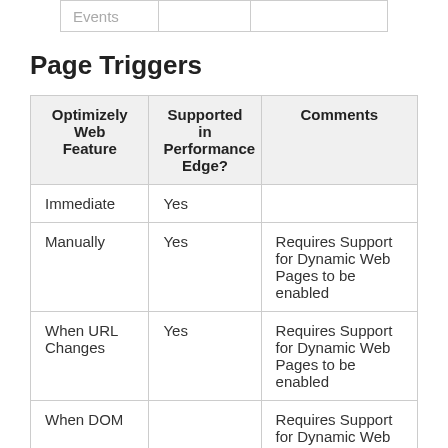|  |  |  |
| --- | --- | --- |
| Events |  |  |
Page Triggers
| Optimizely Web Feature | Supported in Performance Edge? | Comments |
| --- | --- | --- |
| Immediate | Yes |  |
| Manually | Yes | Requires Support for Dynamic Web Pages to be enabled |
| When URL Changes | Yes | Requires Support for Dynamic Web Pages to be enabled |
| When DOM |  | Requires Support for Dynamic Web |